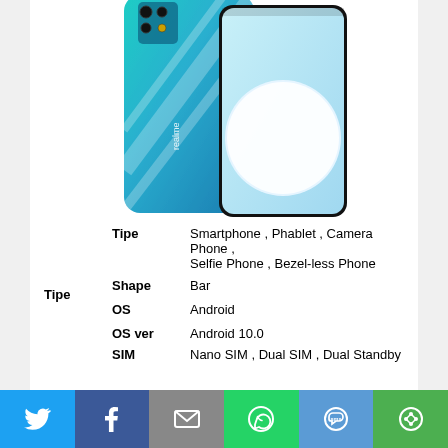[Figure (photo): Realme smartphone shown from back (teal/green gradient color with quad cameras and realme logo) and front (showing fullscreen display with large white circle on light blue background), side by side]
| Tipe | Tipe | Smartphone , Phablet , Camera Phone , Selfie Phone , Bezel-less Phone |
|  | Shape | Bar |
|  | OS | Android |
|  | OS ver | Android 10.0 |
|  | SIM | Nano SIM , Dual SIM , Dual Standby |
[Figure (infographic): Social sharing bar with Twitter, Facebook, Email, WhatsApp, SMS, and Share icons]